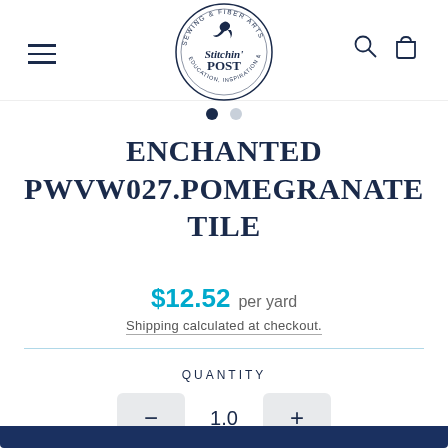[Figure (logo): Stitchin' Post sewing and fiber arts circular logo with hummingbird]
ENCHANTED PWVW027.POMEGRANATE TILE
$12.52 per yard
Shipping calculated at checkout.
QUANTITY
1.0